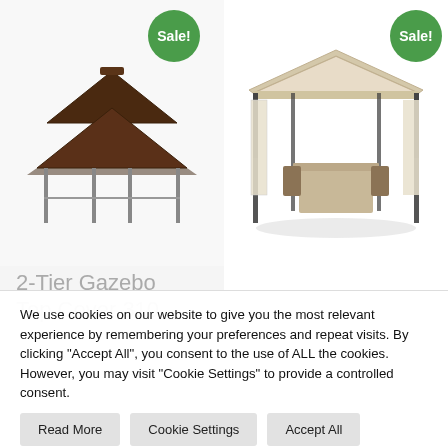[Figure (photo): Two-tier gazebo top cover with dark brown fabric, viewed from front angle, showing frame structure with vertical posts]
[Figure (photo): Cream/beige gazebo with black metal frame, curtain sides, set outdoors with patio table and chairs underneath]
2-Tier Gazebo Top Cover 310
We use cookies on our website to give you the most relevant experience by remembering your preferences and repeat visits. By clicking "Accept All", you consent to the use of ALL the cookies. However, you may visit "Cookie Settings" to provide a controlled consent.
Read More
Cookie Settings
Accept All